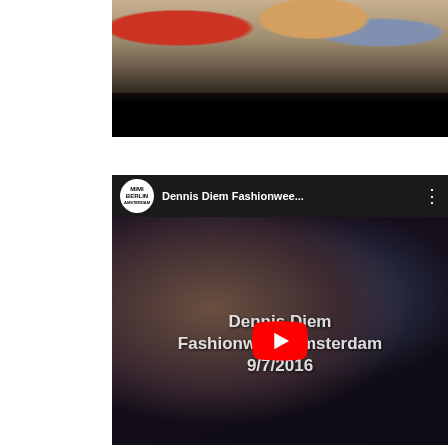[Figure (screenshot): Top portion of a fashion show video thumbnail showing models' legs and high heels walking on a runway, with the bottom portion showing a black letterbox bar.]
[Figure (screenshot): YouTube embedded video player showing a fashion show video titled 'Dennis Diem Fashionwee...' with a Mimi Berlin Amsterdam channel logo, a YouTube play button overlay, and text reading 'Dennis Diem Fashionweek Amsterdam 9/7/2016' over a blurry image of runway models.]